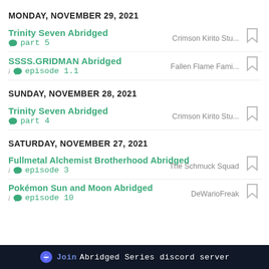MONDAY, NOVEMBER 29, 2021
Trinity Seven Abridged | part 5 | Crimson Kirito Stu...
SSSS.GRIDMAN Abridged | episode 1.1 | Fallen Flame Fami...
SUNDAY, NOVEMBER 28, 2021
Trinity Seven Abridged | part 4 | Crimson Kirito Stu...
SATURDAY, NOVEMBER 27, 2021
Fullmetal Alchemist Brotherhood Abridged | episode 3 | The Schmuck Squad
Pokémon Sun and Moon Abridged | episode 10 | DeWarioFreak
Join Abridged Series discord server